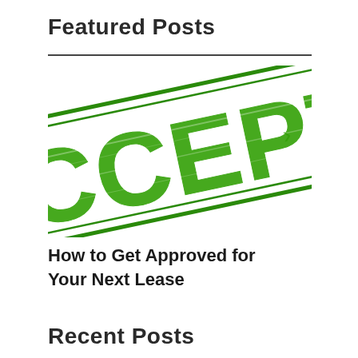Featured Posts
[Figure (illustration): Green rubber stamp graphic showing the word 'ACCEPTED' in bold distressed capital letters at a diagonal angle, with double border lines, cropped so only the letters 'CCEPTE' are fully visible]
How to Get Approved for Your Next Lease
Recent Posts